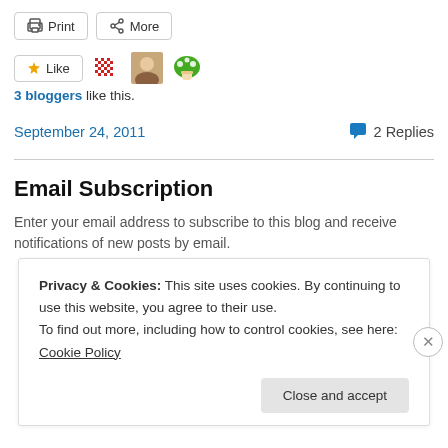[Figure (screenshot): Toolbar with Print and More buttons]
[Figure (screenshot): Like button with 3 blogger avatars (pixel art, photo, mushroom emoji)]
3 bloggers like this.
September 24, 2011   2 Replies
Email Subscription
Enter your email address to subscribe to this blog and receive notifications of new posts by email.
Privacy & Cookies: This site uses cookies. By continuing to use this website, you agree to their use. To find out more, including how to control cookies, see here: Cookie Policy